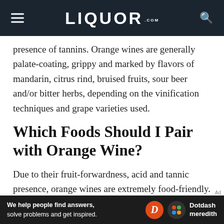LIQUOR.COM
presence of tannins. Orange wines are generally palate-coating, grippy and marked by flavors of mandarin, citrus rind, bruised fruits, sour beer and/or bitter herbs, depending on the vinification techniques and grape varieties used.
Which Foods Should I Pair with Orange Wine?
Due to their fruit-forwardness, acid and tannic presence, orange wines are extremely food-friendly. These wines come to life when served alongside
[Figure (screenshot): Dotdash Meredith advertisement banner: 'We help people find answers, solve problems and get inspired.' with Dotdash Meredith logo.]